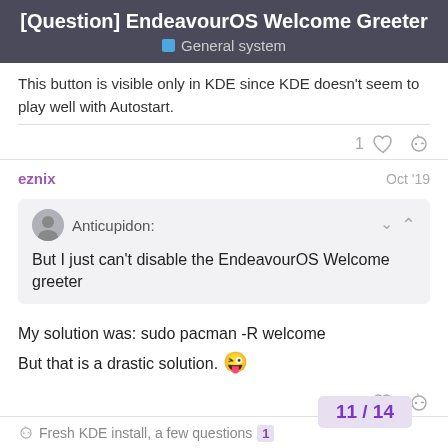[Question] EndeavourOS Welcome Greeter
General system
This button is visible only in KDE since KDE doesn't seem to play well with Autostart.
eznix  Oct '19
Anticupidon:
But I just can't disable the EndeavourOS Welcome greeter
My solution was: sudo pacman -R welcome
But that is a drastic solution. 😜
Fresh KDE install, a few questions  1
11 / 14